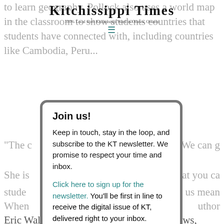KITCHISSIPPI TIMES
100% Local from Kitchissippi Ward in Ottawa, Ontario
to learn geography. Pollock also uses a world map in the classroom to show students countries that students have connected with, including countries like Cambodia, Peru...
"The c... "We can g...
She is... that you ca...
stude... ney are us... mean...
[Figure (other): Modal popup dialog box with newsletter signup prompt]
Join us!
Keep in touch, stay in the loop, and subscribe to the KT newsletter. We promise to respect your time and inbox.
Click here to sign up for the newsletter. You'll be first in line to receive the digital issue of KT, delivered right to your inbox.
When... uthor Eric Walters and blogging their book reviews, Pollock connected with Walters, who began reading these blogs. Pollock noticed that this connection...